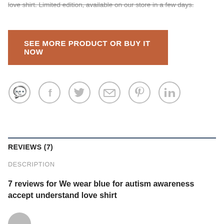love shirt. Limited edition, available on our store in a few days.
SEE MORE PRODUCT OR BUY IT NOW
[Figure (infographic): Row of six social share icon buttons: WhatsApp, Facebook, Twitter, Email, Pinterest, LinkedIn — all circular with gray outlines and gray icons]
REVIEWS (7)
DESCRIPTION
7 reviews for We wear blue for autism awareness accept understand love shirt
[Figure (illustration): Partial gray avatar circle at bottom of page]